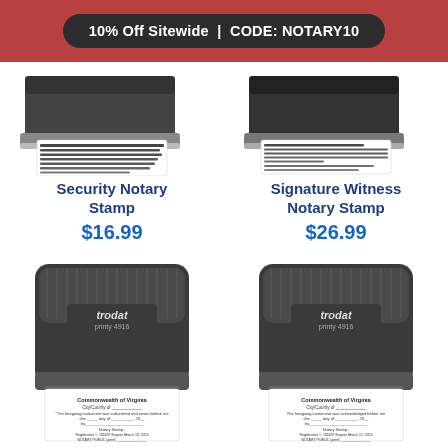10% Off Sitewide | CODE: NOTARY10
[Figure (photo): Security Notary Stamp product photo - rectangular black stamp with imprint showing dense text pattern]
Security Notary Stamp
$16.99
[Figure (photo): Signature Witness Notary Stamp product photo - rectangular black stamp with imprint showing notary witness text]
Signature Witness Notary Stamp
$26.99
[Figure (photo): Trodat printy 4916 self-inking stamp with Virginia notary acknowledgment imprint]
[Figure (photo): Trodat printy 4916 self-inking stamp with Virginia notary acknowledgment (signature witness) imprint]